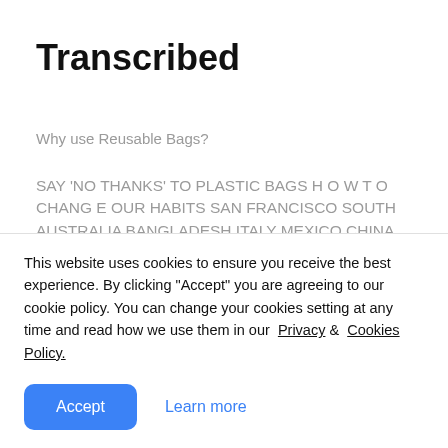Transcribed
Why use Reusable Bags?
SAY 'NO THANKS' TO PLASTIC BAGS H O W T O CHANG E OUR HABITS SAN FRANCISCO SOUTH AUSTRALIA BANGLADESH ITALY MEXICO CHINA GERMANY IRELAND PLASTIC BAG BAN A TAX ON SOME PLASTI C BAGS *Excluding biodegradable bags or bags beneath a certain micron thickness, as
This website uses cookies to ensure you receive the best experience. By clicking "Accept" you are agreeing to our cookie policy. You can change your cookies setting at any time and read how we use them in our  Privacy &  Cookies Policy.
Accept   Learn more